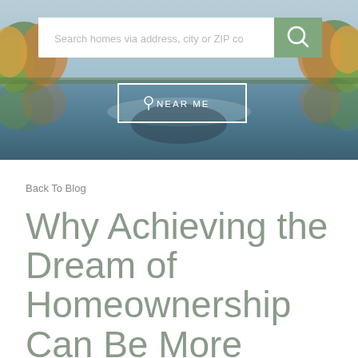[Figure (photo): Hero banner showing a scenic lake landscape with autumn trees reflecting in calm water, with overlaid search UI elements including a search box with placeholder text 'Search homes via address, city or ZIP co' and a green search button icon, plus a 'NEAR ME' button with location pin icon in a white bordered box]
Back To Blog
Why Achieving the Dream of Homeownership Can Be More Difficult for Some Americans